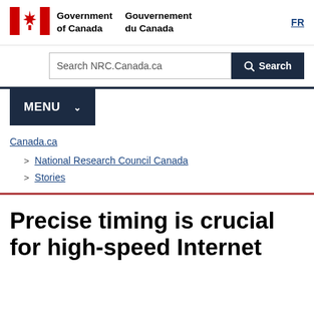[Figure (logo): Government of Canada / Gouvernement du Canada logo with Canadian flag icon]
FR
Search NRC.Canada.ca
MENU
Canada.ca
National Research Council Canada
Stories
Precise timing is crucial for high-speed Internet